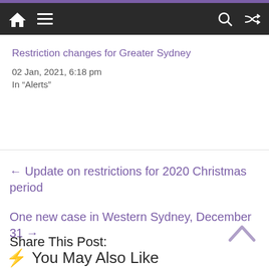Navigation bar with home, menu, search, and shuffle icons
Restriction changes for Greater Sydney
02 Jan, 2021, 6:18 pm
In "Alerts"
← Update on restrictions for 2020 Christmas period
One new case in Western Sydney, December 31 →
Share This Post:
You May Also Like